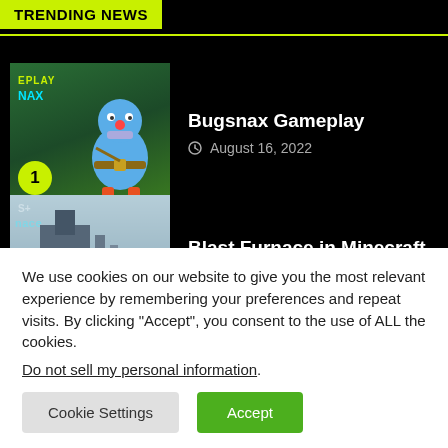TRENDING NEWS
Bugsnax Gameplay
August 16, 2022
[Figure (screenshot): Bugsnax gameplay thumbnail showing a blue robot character on a green background with GAMEPLAY and SNAX labels, numbered badge 1]
Blast Furnace in Minecraft
August 16, 2022
[Figure (screenshot): Blast Furnace in Minecraft thumbnail showing industrial furnace building with PS+ and furnace labels]
We use cookies on our website to give you the most relevant experience by remembering your preferences and repeat visits. By clicking “Accept”, you consent to the use of ALL the cookies.
Do not sell my personal information.